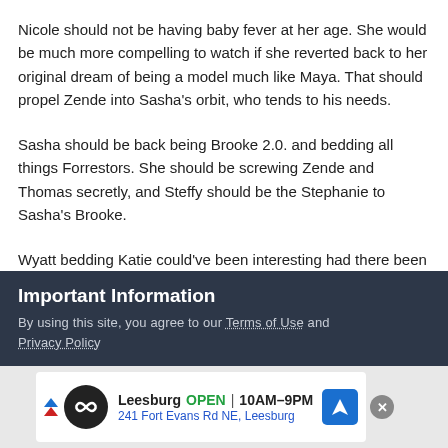Nicole should not be having baby fever at her age. She would be much more compelling to watch if she reverted back to her original dream of being a model much like Maya. That should propel Zende into Sasha's orbit, who tends to his needs.
Sasha should be back being Brooke 2.0. and bedding all things Forrestors. She should be screwing Zende and Thomas secretly, and Steffy should be the Stephanie to Sasha's Brooke.
Wyatt bedding Katie could've been interesting had there been stakes. Going back to Katie & Bill's divorce, it should've been messy with shares being at stake. Karen should've bitterly given
Important Information
By using this site, you agree to our Terms of Use and Privacy Policy
[Figure (other): Advertisement banner for Leesburg location showing logo, OPEN status, hours 10AM-9PM, and address 241 Fort Evans Rd NE, Leesburg]